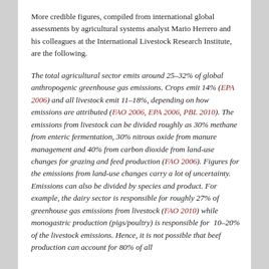More credible figures, compiled from international global assessments by agricultural systems analyst Mario Herrero and his colleagues at the International Livestock Research Institute, are the following.
The total agricultural sector emits around 25–32% of global anthropogenic greenhouse gas emissions. Crops emit 14% (EPA 2006) and all livestock emit 11–18%, depending on how emissions are attributed (FAO 2006, EPA 2006, PBL 2010). The emissions from livestock can be divided roughly as 30% methane from enteric fermentation, 30% nitrous oxide from manure management and 40% from carbon dioxide from land-use changes for grazing and feed production (FAO 2006). Figures for the emissions from land-use changes carry a lot of uncertainty. Emissions can also be divided by species and product. For example, the dairy sector is responsible for roughly 27% of greenhouse gas emissions from livestock (FAO 2010) while monogastric production (pigs/poultry) is responsible for 10–20% of the livestock emissions. Hence, it is not possible that beef production can account for 80% of all